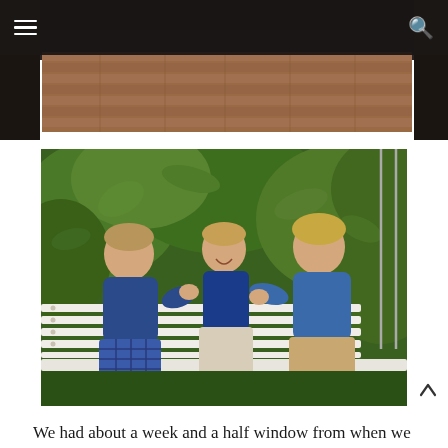Navigation menu and search icon
[Figure (photo): Top portion of a photo showing a brick/tile surface under a dark overhead structure]
[Figure (photo): Three young boys sitting on a white bench swing outdoors. Two older boys are kissing the cheeks of the middle laughing child. Green foliage in background.]
We had about a week and a half window from when we closed to when our lease ended on our rental. We